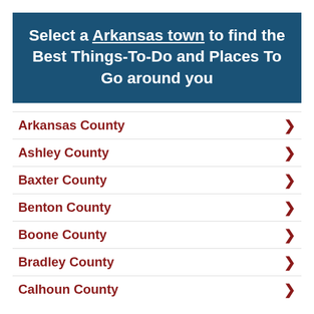Select a Arkansas town to find the Best Things-To-Do and Places To Go around you
Arkansas County
Ashley County
Baxter County
Benton County
Boone County
Bradley County
Calhoun County